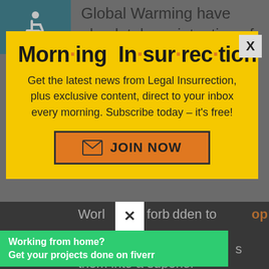[Figure (screenshot): Background page with teal wheelchair accessibility icon in top-left corner]
Global Warming have absolutely no intention of compromising THEIR extravagant lifestyles. They
[Figure (infographic): Yellow modal popup - Morning Insurrection newsletter signup with JOIN NOW button]
World lifestyle forbidden to op
[Figure (infographic): Fiverr advertisement banner - Working from home? Get your projects done on fiverr]
them into a superior